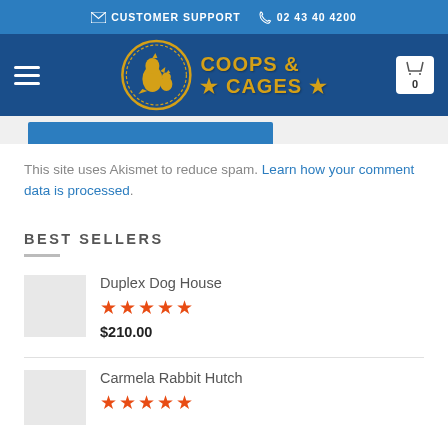CUSTOMER SUPPORT  02 43 40 4200
[Figure (logo): Coops & Cages logo with rooster graphic, circular gold badge on dark blue navigation bar]
This site uses Akismet to reduce spam. Learn how your comment data is processed.
BEST SELLERS
Duplex Dog House
★★★★★
$210.00
Carmela Rabbit Hutch
★★★★★